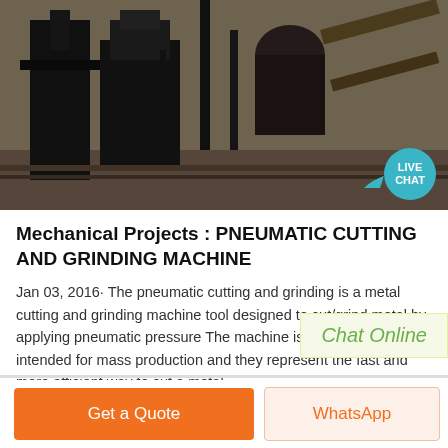[Figure (photo): Industrial machinery/mill equipment photo, dark tones showing large mechanical equipment against a sky background]
Mechanical Projects : PNEUMATIC CUTTING AND GRINDING MACHINE
Jan 03, 2016· The pneumatic cutting and grinding is a metal cutting and grinding machine tool designed to cut/grind metal by applying pneumatic pressure The machine is exclusively intended for mass production and they represent the fast and more efficient way to cut a metal
Chat Online
Get a Quote
WhatsApp